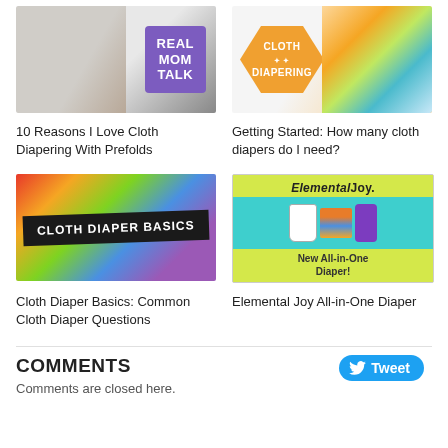[Figure (photo): Baby with Real Mom Talk purple badge logo]
[Figure (photo): Baby with Cloth Diapers orange hexagon badge and colorful cloth diapers]
10 Reasons I Love Cloth Diapering With Prefolds
Getting Started: How many cloth diapers do I need?
[Figure (photo): Colorful rainbow background with Cloth Diaper Basics black banner]
[Figure (photo): Elemental Joy All-in-One Diaper product advertisement with teal background and yellow-green border]
Cloth Diaper Basics: Common Cloth Diaper Questions
Elemental Joy All-in-One Diaper
COMMENTS
Comments are closed here.